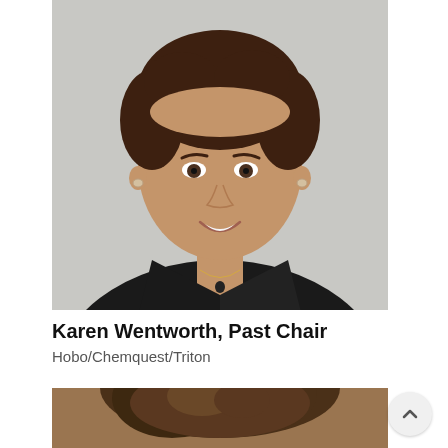[Figure (photo): Professional headshot of Karen Wentworth, a woman with short curly brown hair, wearing a black blazer over a red patterned top, with a small pendant necklace, smiling against a light grey background.]
Karen Wentworth, Past Chair
Hobo/Chemquest/Triton
[Figure (photo): Top portion of a second person's headshot showing brown tousled hair against a warm brown background.]